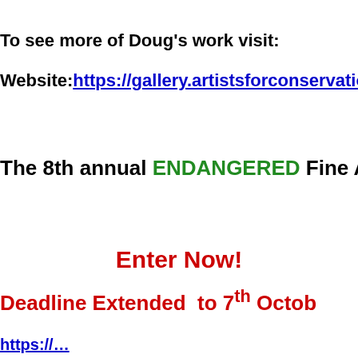To see more of Doug's work visit:
Website: https://gallery.artistsforconservation.o…
The 8th annual ENDANGERED Fine Art & Phot…
Enter Now!
Deadline Extended to 7th October
https://…